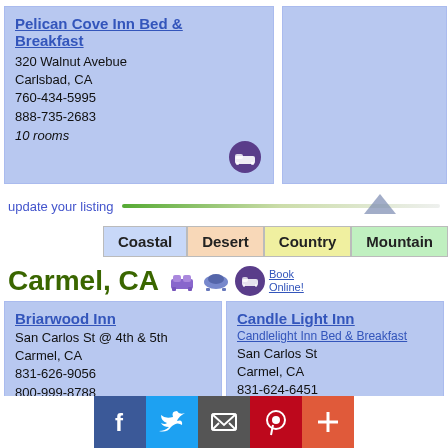Pelican Cove Inn Bed & Breakfast
320 Walnut Avebue
Carlsbad, CA
760-434-5995
888-735-2683
10 rooms
[Figure (other): Empty blue card placeholder on right side]
update your listing
Coastal | Desert | Country | Mountain
Carmel, CA
Briarwood Inn
San Carlos St @ 4th & 5th
Carmel, CA
831-626-9056
800-999-8788
13 rooms
Candle Light Inn
Candlelight Inn Bed & Breakfast
San Carlos St
Carmel, CA
831-624-6451
888-304-0050